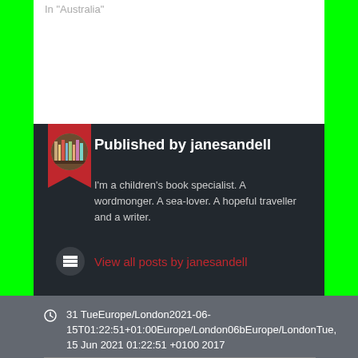In "Australia"
Published by janesandell
I'm a children's book specialist. A wordmonger. A sea-lover. A hopeful traveller and a writer.
View all posts by janesandell
31 TueEurope/London2021-06-15T01:22:51+01:00Europe/London06bEurope/LondonTue, 15 Jun 2021 01:22:51 +0100 2017
Books, Scotland, Travel
Anna Buchan, O Douglas, Peebles